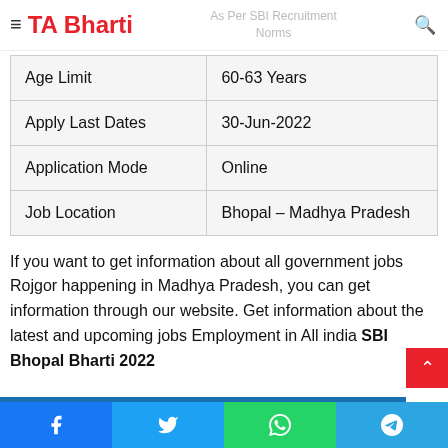TA Bharti | As Per SBI Recruitment Norms
| Age Limit | 60-63 Years |
| Apply Last Dates | 30-Jun-2022 |
| Application Mode | Online |
| Job Location | Bhopal – Madhya Pradesh |
If you want to get information about all government jobs Rojgor happening in Madhya Pradesh, you can get information through our website. Get information about the latest and upcoming jobs Employment in All india SBI Bhopal Bharti 2022